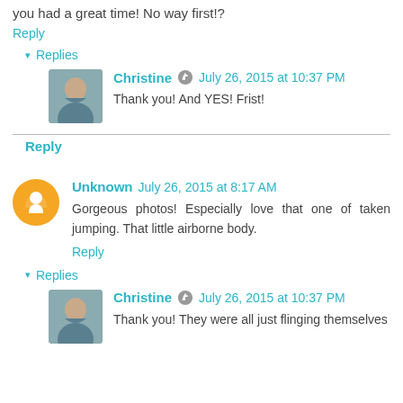you had a great time! No way first!?
Reply
▾ Replies
Christine  July 26, 2015 at 10:37 PM
Thank you! And YES! Frist!
Reply
Unknown  July 26, 2015 at 8:17 AM
Gorgeous photos! Especially love that one of taken jumping. That little airborne body.
Reply
▾ Replies
Christine  July 26, 2015 at 10:37 PM
Thank you! They were all just flinging themselves